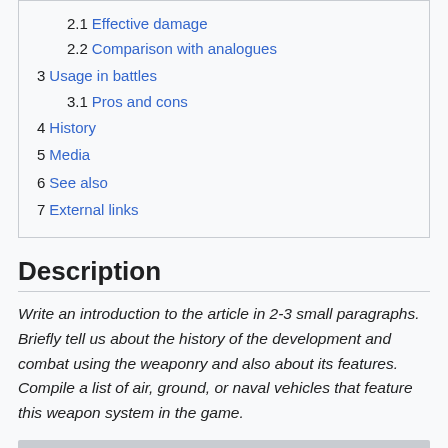2.1 Effective damage
2.2 Comparison with analogues
3 Usage in battles
3.1 Pros and cons
4 History
5 Media
6 See also
7 External links
Description
Write an introduction to the article in 2-3 small paragraphs. Briefly tell us about the history of the development and combat using the weaponry and also about its features. Compile a list of air, ground, or naval vehicles that feature this weapon system in the game.